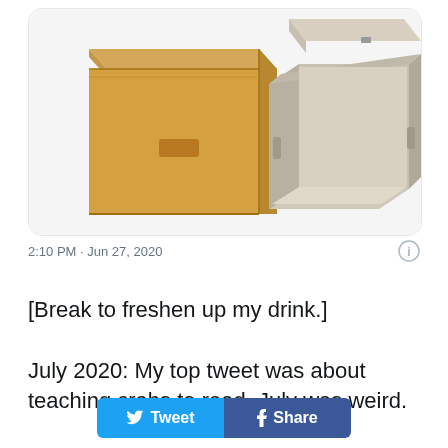[Figure (photo): Two cardboard storage boxes side by side: left box is a closed brown/tan cardboard box with a handle cutout; right box is an open gray/beige archival box with the lid partially removed, showing the inside.]
2:10 PM · Jun 27, 2020
[Break to freshen up my drink.]
July 2020: My top tweet was about teaching crabs to read. July was weird.